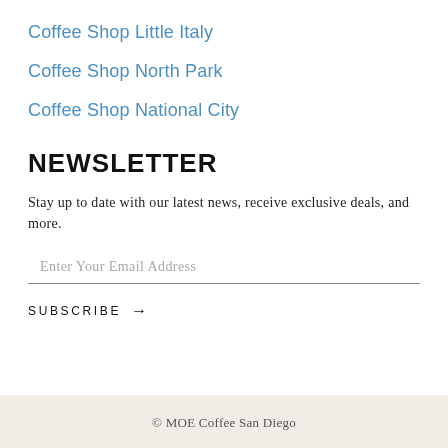Coffee Shop Little Italy
Coffee Shop North Park
Coffee Shop National City
NEWSLETTER
Stay up to date with our latest news, receive exclusive deals, and more.
Enter Your Email Address
SUBSCRIBE →
© MOE Coffee San Diego